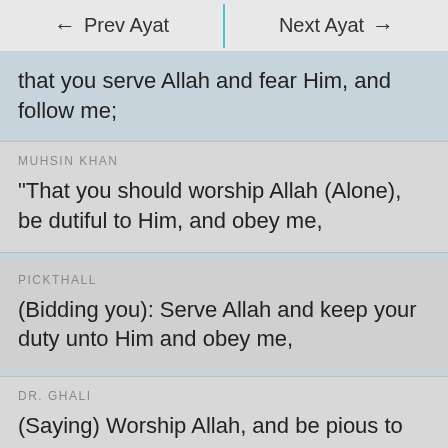← Prev Ayat   Next Ayat →
that you serve Allah and fear Him, and follow me;
MUHSIN KHAN
“That you should worship Allah (Alone), be dutiful to Him, and obey me,
PICKTHALL
(Bidding you): Serve Allah and keep your duty unto Him and obey me,
DR. GHALI
(Saying) Worship Allah, and be pious to Him, and obey